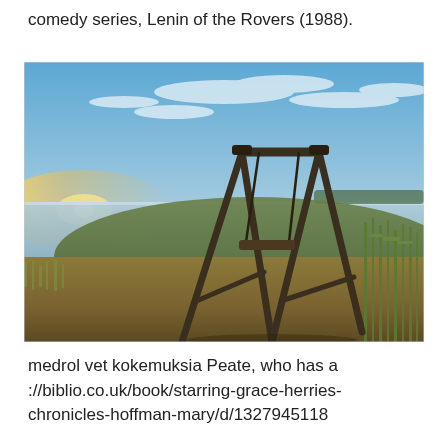comedy series, Lenin of the Rovers (1988).
[Figure (photo): Outdoor scene at sunset or sunrise: a wooden swing set stands on a grassy hillside overlooking a calm lake or bay. Golden grass and green reeds frame the foreground and right side. Blue sky with wispy clouds fills the upper portion.]
medrol vet kokemuksia Peate, who has a ://biblio.co.uk/book/starring-grace-herries-chronicles-hoffman-mary/d/1327945118